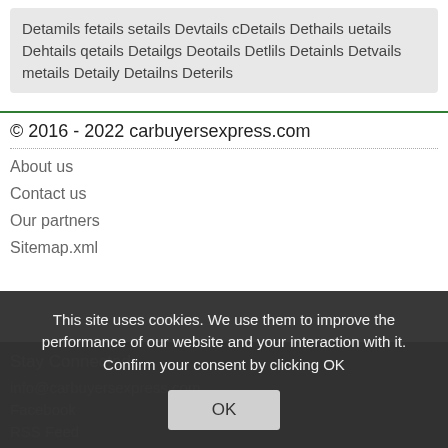Detamils fetails setails Devtails cDetails Dethails uetails Dehtails qetails Detailgs Deotails Detlils Detainls Detvails metails Detaily Detailns Deterils
© 2016 - 2022 carbuyersexpress.com
About us
Contact us
Our partners
Sitemap.xml
Stay Connected
info@carbuyersexpress.com
Facebook
RSS Feed
This site uses cookies. We use them to improve the performance of our website and your interaction with it. Confirm your consent by clicking OK